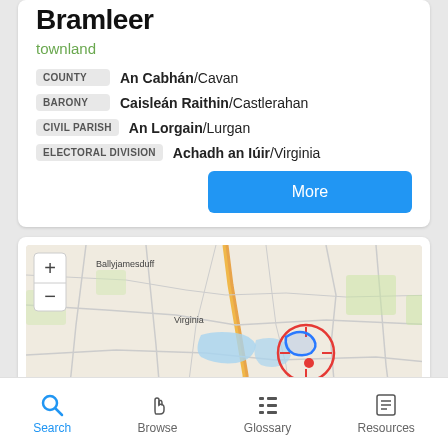Bramleer
townland
COUNTY  An Cabhán/Cavan
BARONY  Caisleán Raithin/Castlerahan
CIVIL PARISH  An Lorgain/Lurgan
ELECTORAL DIVISION  Achadh an Iúir/Virginia
[Figure (map): Map showing location near Virginia, with Ballyjamesduff visible to the northwest. A red circle with a location pin marks the townland, with a blue outlined region indicating the townland boundary. Map includes zoom +/- controls.]
Search  Browse  Glossary  Resources